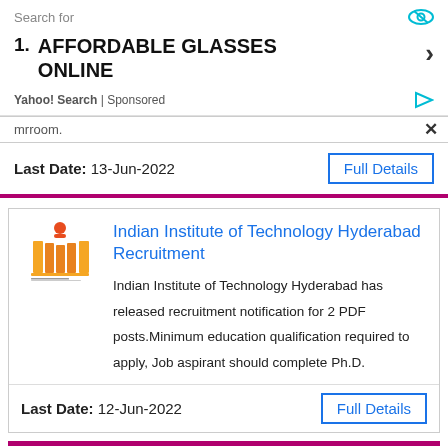[Figure (screenshot): Ad banner with 'Search for' label, eye icon, listing '1. AFFORDABLE GLASSES ONLINE' with right arrow, Yahoo! Search | Sponsored footer with play icon]
mrroom.
Last Date: 13-Jun-2022
Full Details
[Figure (logo): IIT Hyderabad logo - orange figure with yellow-orange pillars and small text beneath]
Indian Institute of Technology Hyderabad Recruitment
Indian Institute of Technology Hyderabad has released recruitment notification for 2 PDF posts.Minimum education qualification required to apply, Job aspirant should complete Ph.D.
Last Date: 12-Jun-2022
Full Details